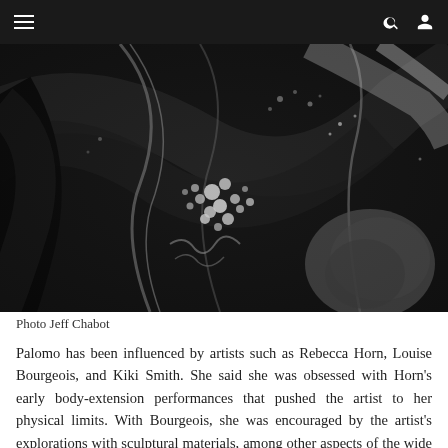≡  🔍  👤
[Figure (photo): Black and white close-up abstract photograph of what appears to be a painting or textured surface with dark sweeping brush strokes, light streaks, scattered spherical dots/bubbles, and organic textural forms. Photo credit: Jeff Chabot.]
Photo Jeff Chabot
Palomo has been influenced by artists such as Rebecca Horn, Louise Bourgeois, and Kiki Smith. She said she was obsessed with Horn's early body-extension performances that pushed the artist to her physical limits. With Bourgeois, she was encouraged by the artist's explorations with sculptural materials, among other aspects of the wide range of mediums she produced work in. Kiki